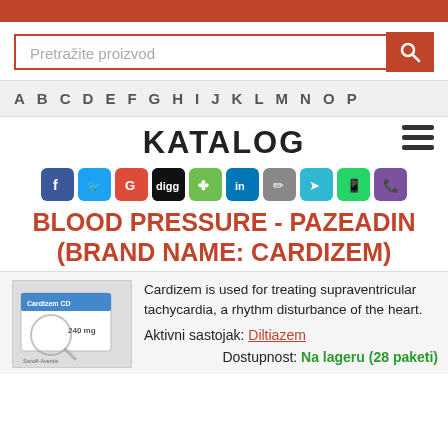[Figure (screenshot): Orange top navigation bar]
[Figure (screenshot): Search bar with text 'Pretražite proizvod' and orange search button with magnifying glass icon]
A B C D E F G H I J K L M N O P
KATALOG
[Figure (infographic): Row of social media share icons: Facebook, Twitter, Google+, Digg, StumbleUpon, LinkedIn, Pencil/Edit, Share, WhatsApp, Viber]
BLOOD PRESSURE - PAZEADIN (BRAND NAME: CARDIZEM)
[Figure (photo): Product photo of Cardizem 240mg box with magnifying glass overlay]
Cardizem is used for treating supraventricular tachycardia, a rhythm disturbance of the heart.
Aktivni sastojak: Diltiazem
Dostupnost: Na lageru (28 paketi)